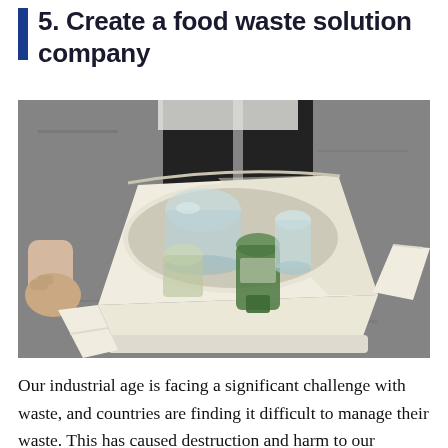5. Create a food waste solution company
[Figure (photo): A person holding open a cream-colored canvas tote bag filled with glass jars and bottles for recycling, viewed from above on a grey asphalt surface.]
Our industrial age is facing a significant challenge with waste, and countries are finding it difficult to manage their waste. This has caused destruction and harm to our